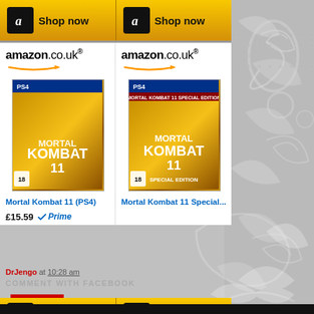[Figure (screenshot): Amazon.co.uk product listing widget showing two Mortal Kombat 11 products (PS4 and Special Edition) with 'Shop now' buttons, prices, and Amazon Prime badge. Posted by DrJengo at 10:28 am with a 'COMMENT WITH FACEBOOK' link and a red 'Share' button.]
Shop now
Shop now
amazon.co.uk
amazon.co.uk
Mortal Kombat 11 (PS4)
Mortal Kombat 11 Special...
£15.59
Prime
Shop now
Shop now
DrJengo at 10:28 am
COMMENT WITH FACEBOOK
Share